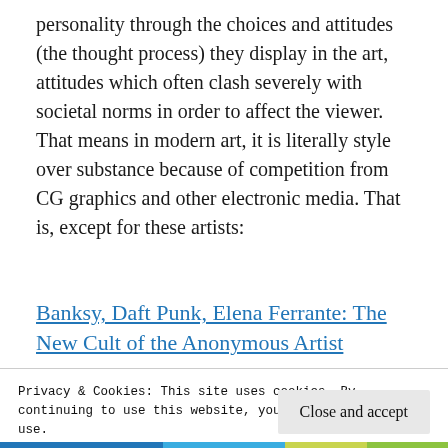personality through the choices and attitudes (the thought process) they display in the art, attitudes which often clash severely with societal norms in order to affect the viewer. That means in modern art, it is literally style over substance because of competition from CG graphics and other electronic media. That is, except for these artists:
Banksy, Daft Punk, Elena Ferrante: The New Cult of the Anonymous Artist
Privacy & Cookies: This site uses cookies. By continuing to use this website, you agree to their use.
To find out more, including how to control cookies, see here:
Cookie Policy
Close and accept